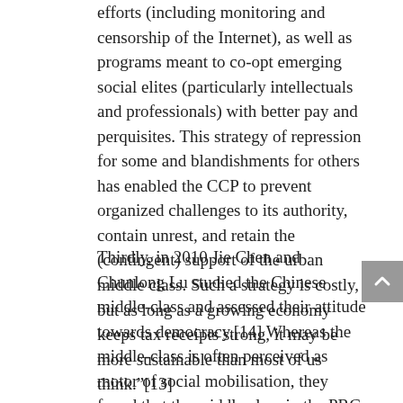efforts (including monitoring and censorship of the Internet), as well as programs meant to co-opt emerging social elites (particularly intellectuals and professionals) with better pay and perquisites. This strategy of repression for some and blandishments for others has enabled the CCP to prevent organized challenges to its authority, contain unrest, and retain the (contingent) support of the urban middle class. Such a strategy is costly, but as long as a growing economy keeps tax receipts strong, it may be more sustainable than most of us think."[13]
Thirdly, in 2010 Jie Chen and Chunlong Lu studied the Chinese middle-class and assessed their attitude towards democracy.[14] Whereas the middle-class is often perceived as motor of social mobilisation, they found that the middle class in the PRC does not necessarily support democracy. Instead, it is mainly concerned with its socio-economic well-being and